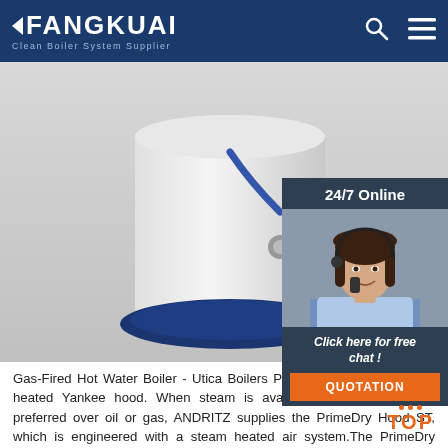FANGKUAI Clean Boiler System Supplier
[Figure (photo): Gas-fired hot water boiler unit with red burner component and blue piping, white cylindrical tank body with dark blue base ring]
[Figure (photo): 24/7 Online chat panel with woman wearing headset smiling, with 'Click here for free chat!' text and orange QUOTATION button]
Gas-Fired Hot Water Boiler - Utica Boilers PrimeDry Hood ST Steam-heated Yankee hood. When steam is available and cheaper, and preferred over oil or gas, ANDRITZ supplies the PrimeDry Hood ST, which is engineered with a steam heated air system.The PrimeDry Hood ST operates in a temperature range around 200° C of impingement air temperature, which can provide an additional 15-25% of drying capacity compared to the Yankee ...